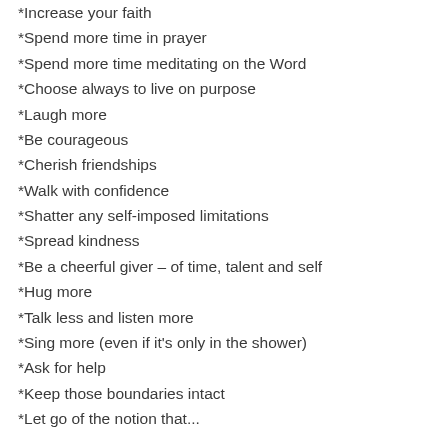*Increase your faith
*Spend more time in prayer
*Spend more time meditating on the Word
*Choose always to live on purpose
*Laugh more
*Be courageous
*Cherish friendships
*Walk with confidence
*Shatter any self-imposed limitations
*Spread kindness
*Be a cheerful giver – of time, talent and self
*Hug more
*Talk less and listen more
*Sing more (even if it's only in the shower)
*Ask for help
*Keep those boundaries intact
*Let go of the notion that...